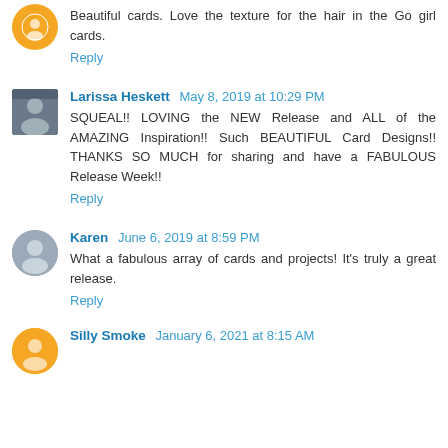Beautiful cards. Love the texture for the hair in the Go girl cards.
Reply
Larissa Heskett May 8, 2019 at 10:29 PM
SQUEAL!! LOVING the NEW Release and ALL of the AMAZING Inspiration!! Such BEAUTIFUL Card Designs!! THANKS SO MUCH for sharing and have a FABULOUS Release Week!!
Reply
Karen June 6, 2019 at 8:59 PM
What a fabulous array of cards and projects! It's truly a great release.
Reply
Silly Smoke January 6, 2021 at 8:15 AM